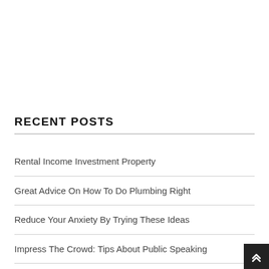RECENT POSTS
Rental Income Investment Property
Great Advice On How To Do Plumbing Right
Reduce Your Anxiety By Trying These Ideas
Impress The Crowd: Tips About Public Speaking
Real Estate Investing Information You Need To Know